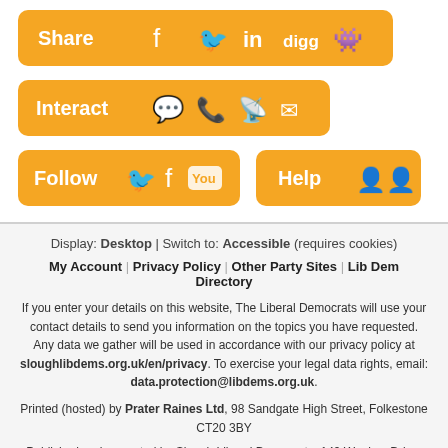[Figure (infographic): Social sharing buttons row: Share (Facebook, Twitter, LinkedIn, Digg, Reddit icons) on orange rounded rectangle]
[Figure (infographic): Interact button row on orange rounded rectangle with comment, phone, RSS, email icons]
[Figure (infographic): Follow button on orange rounded rectangle with Twitter, Facebook, YouTube icons; Help button on orange rounded rectangle with accessibility icons]
Display: Desktop | Switch to: Accessible (requires cookies)
My Account | Privacy Policy | Other Party Sites | Lib Dem Directory
If you enter your details on this website, The Liberal Democrats will use your contact details to send you information on the topics you have requested. Any data we gather will be used in accordance with our privacy policy at sloughlibdems.org.uk/en/privacy. To exercise your legal data rights, email: data.protection@libdems.org.uk.
Printed (hosted) by Prater Raines Ltd, 98 Sandgate High Street, Folkestone CT20 3BY
Published and promoted by Slough Liberal Democrats, 149 Weekes Drive, Slough, SL1 2YW.
The views expressed are those of the publisher, not of the service provider.
Website designed and developed by Prater Raines Ltd